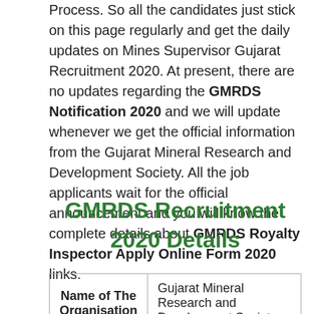Process. So all the candidates just stick on this page regularly and get the daily updates on Mines Supervisor Gujarat Recruitment 2020. At present, there are no updates regarding the GMRDS Notification 2020 and we will update whenever we get the official information from the Gujarat Mineral Research and Development Society. All the job applicants wait for the official announcement and you will know the complete details about GMRDS Royalty Inspector Apply Online Form 2020 links.
GMRDS Recruitment 2020 Details
| Name of The Organisation |  |
| --- | --- |
| Name of The Organisation | Gujarat Mineral Research and Development Society |